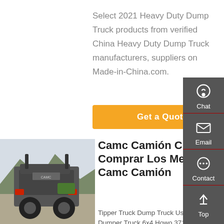Select 2021 Heavy Duty Dump Truck products from verified China Heavy Duty Dump Truck manufacturers, suppliers on Made-in-China.com.
[Figure (other): Orange 'Get a Quote' button]
[Figure (photo): Photo of a grey CAMC heavy duty dump truck from the rear, parked outdoors with mountains in background]
Camc Camión Cr Comprar Los Mejores Camc Camión
Tipper Truck Dump Truck Used Dumper Truck 6x4 Howo 371 10 Wheeler 40ton Sinotruk Diesel